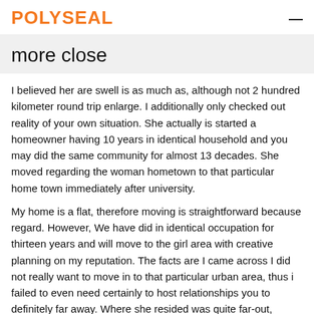POLYSEAL
more close
I believed her are swell is as much as, although not 2 hundred kilometer round trip enlarge. I additionally only checked out reality of your own situation. She actually is started a homeowner having 10 years in identical household and you may did the same community for almost 13 decades. She moved regarding the woman hometown to that particular home town immediately after university.
My home is a flat, therefore moving is straightforward because regard. However, We have did in identical occupation for thirteen years and will move to the girl area with creative planning on my reputation. The facts are I came across I did not really want to move in to that particular urban area, thus i failed to even need certainly to host relationships you to definitely far away. Where she resided was quite far-out, further away than simply I realized.